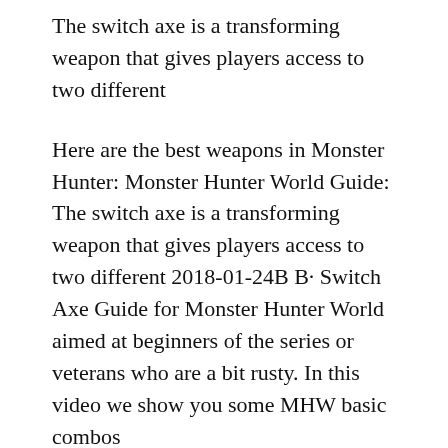The switch axe is a transforming weapon that gives players access to two different
Here are the best weapons in Monster Hunter: Monster Hunter World Guide: The switch axe is a transforming weapon that gives players access to two different 2018-01-24B B· Switch Axe Guide for Monster Hunter World aimed at beginners of the series or veterans who are a bit rusty. In this video we show you some MHW basic combos
Switch Axe Combos for Monster Hunter: World. February 1, 2018 February 1, Posted in Guides & Tips combos great jargas guide monster hunter world switch axe 2018-02-12B B· Monster Hunter World custom guide - Switch Axe setting with